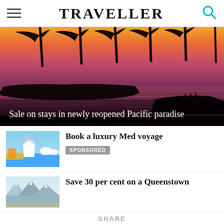TRAVELLER
[Figure (photo): Tropical sunset marina with silhouetted palm trees, boats docked on calm water, orange and purple sky reflecting on the water]
Sale on stays in newly reopened Pacific paradise
[Figure (photo): Greek island scene with white windmill architecture and colorful flowers]
Book a luxury Med voyage
SPONSORED
[Figure (photo): Aerial or landscape view of Queenstown New Zealand with snow-capped mountains]
Save 30 per cent on a Queenstown
SHARE